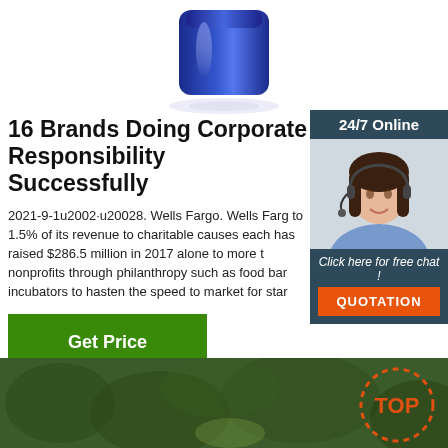[Figure (photo): Blue glass bottle/container photographed from above on white background, partially cropped at top]
16 Brands Doing Corporate Responsibility Successfully
2021-9-1u2002·u20028. Wells Fargo. Wells Fargo donates to 1.5% of its revenue to charitable causes each year and has raised $286.5 million in 2017 alone to more than nonprofits through philanthropy such as food banks and incubators to hasten the speed to market for startups
[Figure (photo): 24/7 Online chat widget with a female customer service representative wearing a headset, smiling. Includes 'Click here for free chat!' text and orange QUOTATION button.]
[Figure (photo): Green foliage/nature background image strip at bottom of page with orange dotted 'TOP' logo in corner]